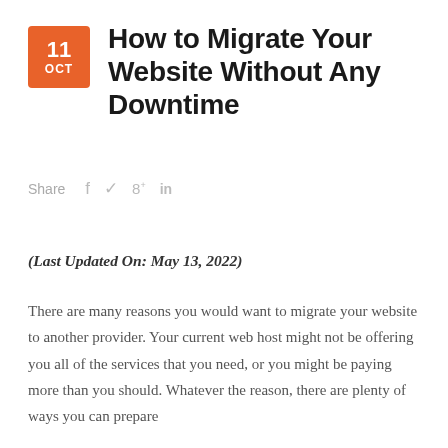How to Migrate Your Website Without Any Downtime
Share  f  🐦  g+  in
(Last Updated On: May 13, 2022)
There are many reasons you would want to migrate your website to another provider. Your current web host might not be offering you all of the services that you need, or you might be paying more than you should. Whatever the reason, there are plenty of ways you can prepare